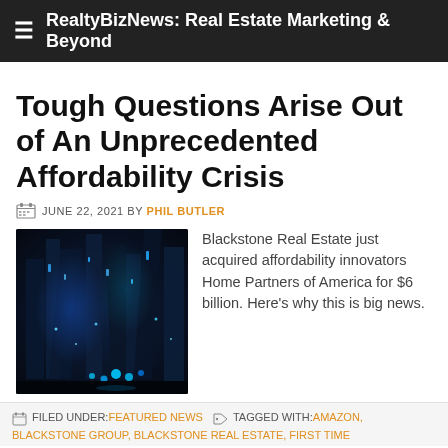RealtyBizNews: Real Estate Marketing & Beyond
Tough Questions Arise Out of An Unprecedented Affordability Crisis
JUNE 22, 2021 BY PHIL BUTLER
[Figure (photo): Abstract blue-toned futuristic city/technology image with glowing blue lights and dark tones]
Blackstone Real Estate just acquired affordability innovators Home Partners of America for $6 billion. Here's why this is big news.
FILED UNDER: FEATURED NEWS   TAGGED WITH: AMAZON, BLACKSTONE GROUP, BLACKSTONE REAL ESTATE, FIRST TIME